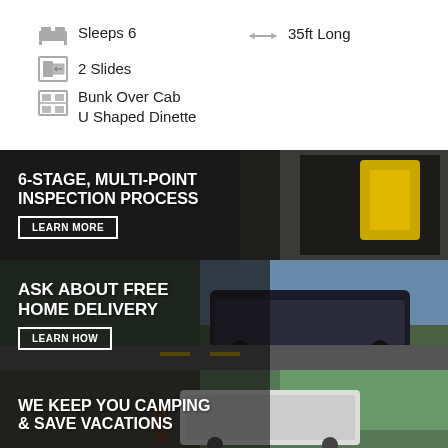Sleeps 6
35ft Long
2 Slides
Bunk Over Cab
U Shaped Dinette
[Figure (photo): Banner showing RV inspection equipment with text '6-STAGE, MULTI-POINT INSPECTION PROCESS' and a 'LEARN MORE' button]
[Figure (photo): Banner showing a large motorhome RV driving on a road with text 'ASK ABOUT FREE HOME DELIVERY' and a 'LEARN HOW' button]
[Figure (photo): Banner showing a fifth wheel RV trailer with text 'WE KEEP YOU CAMPING & SAVE VACATIONS']